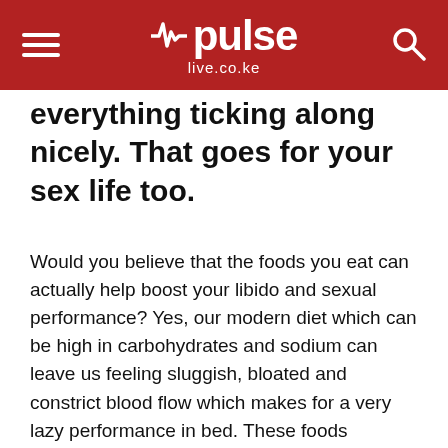pulse live.co.ke
everything ticking along nicely. That goes for your sex life too.
Would you believe that the foods you eat can actually help boost your libido and sexual performance? Yes, our modern diet which can be high in carbohydrates and sodium can leave us feeling sluggish, bloated and constrict blood flow which makes for a very lazy performance in bed. These foods counteract that effect, increase 'happy chemicals' in our brain such as serotonin and leave us feeling happy, energised and powerful.